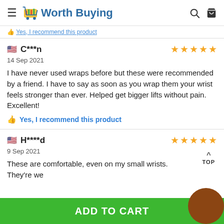Worth Buying
Yes, I recommend this product
C***n
14 Sep 2021
I have never used wraps before but these were recommended by a friend. I have to say as soon as you wrap them your wrist feels stronger than ever. Helped get bigger lifts without pain. Excellent!
Yes, I recommend this product
H****d
9 Sep 2021
These are comfortable, even on my small wrists. They're we...
ADD TO CART